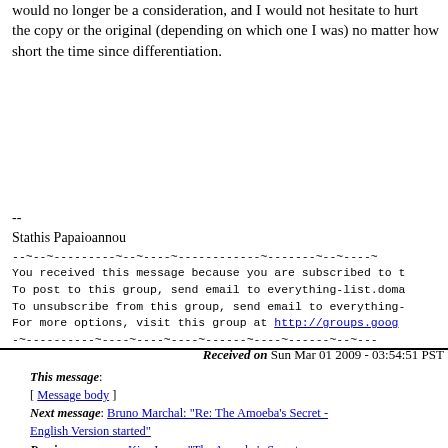would no longer be a consideration, and I would not hesitate to hurt
the copy or the original (depending on which one I was) no matter how
short the time since differentiation.
--
Stathis Papaioannou
--------------------------------------------------
You received this message because you are subscribed to t
To post to this group, send email to everything-list.doma
To unsubscribe from this group, send email to everything-
For more information, visit this group at http://groups.goog
--------------------------------------------------
Received on Sun Mar 01 2009 - 03:54:51 PST
This message:
[ Message body ]
Next message: Bruno Marchal: "Re: The Amoeba's Secret - English Version started"
Previous message: Kim Jones: "The Amoeba's Secret - English Version started"
In reply to: Bruno Marchal: "Re: [Fwd: NDPR David Shoemaker, Personal Identity and Ethics: A Brief Introduction]"